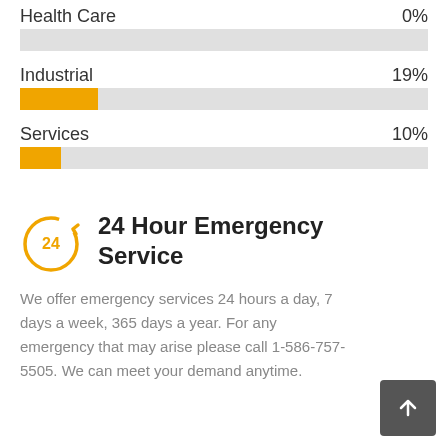[Figure (bar-chart): Sector Breakdown]
24 Hour Emergency Service
We offer emergency services 24 hours a day, 7 days a week, 365 days a year. For any emergency that may arise please call 1-586-757-5505. We can meet your demand anytime.